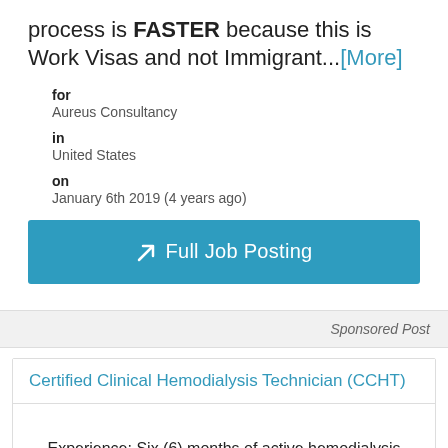process is FASTER because this is Work Visas and not Immigrant...[More]
for
Aureus Consultancy
in
United States
on
January 6th 2019 (4 years ago)
Full Job Posting
Sponsored Post
Certified Clinical Hemodialysis Technician (CCHT)
Experience: Six (6) months of active hemodialysis patient care experience as a certified hemodialysis